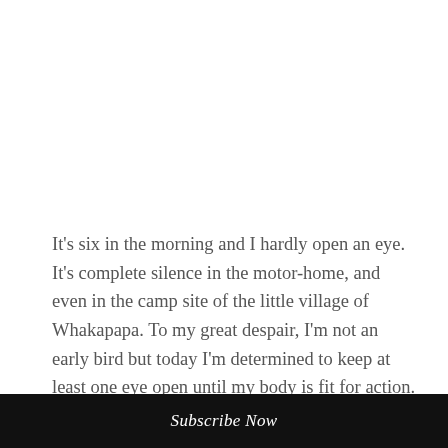It's six in the morning and I hardly open an eye. It's complete silence in the motor-home, and even in the camp site of the little village of Whakapapa. To my great despair, I'm not an early bird but today I'm determined to keep at least one eye open until my body is fit for action. In an hour, we'll start to walk up the Tongariro Alpine Crossing, a group of volcanoes in the middle of New Zealand's Northern Island.
Subscribe Now